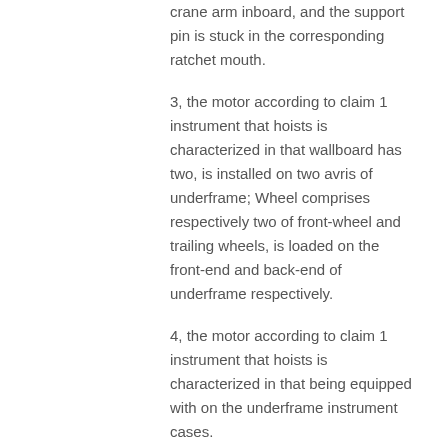crane arm inboard, and the support pin is stuck in the corresponding ratchet mouth.
3, the motor according to claim 1 instrument that hoists is characterized in that wallboard has two, is installed on two avris of underframe; Wheel comprises respectively two of front-wheel and trailing wheels, is loaded on the front-end and back-end of underframe respectively.
4, the motor according to claim 1 instrument that hoists is characterized in that being equipped with on the underframe instrument cases.
5, the motor according to claim 1 instrument that hoists is characterized in that lift is loaded on the wallboard, is rotary with handle on hand pressing.
6, the motor according to claim 1 instrument that hoists is characterized in that being equipped with control lever on wallboard.
7, the motor according to claim 1 instrument that hoists is characterized in that carriage links to each other with crane arm, side rod, and oil pump is loaded on the underframe.